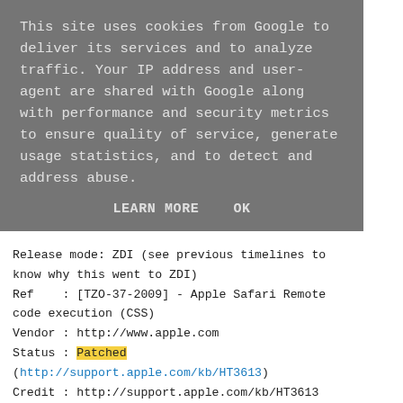This site uses cookies from Google to deliver its services and to analyze traffic. Your IP address and user-agent are shared with Google along with performance and security metrics to ensure quality of service, generate usage statistics, and to detect and address abuse.
LEARN MORE   OK
Release mode: ZDI (see previous timelines to know why this went to ZDI)
Ref    : [TZO-37-2009] - Apple Safari Remote code execution (CSS)
Vendor : http://www.apple.com
Status : Patched
(http://support.apple.com/kb/HT3613)
Credit : http://support.apple.com/kb/HT3613
CVE    : CVE-2009-1698